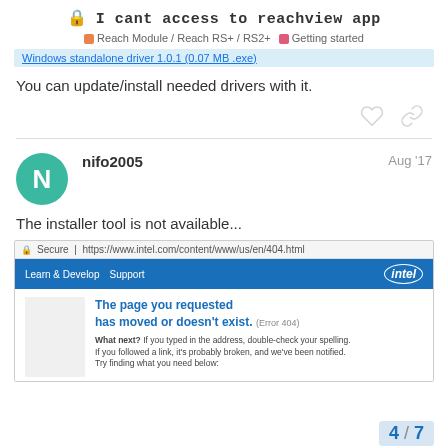🔒 I cant access to reachview app
Reach Module / Reach RS+ / RS2+    Getting started
Windows standalone driver 1.0.1 (0.07 MB .exe)
You can update/install needed drivers with it.
nifo2005    Aug '17
The installer tool is not available...
[Figure (screenshot): Screenshot of Intel 404 error page at https://www.intel.com/content/www/us/en/404.html showing 'The page you requested has moved or doesn't exist. (Error 404)' with Intel navigation bar and sidebar.]